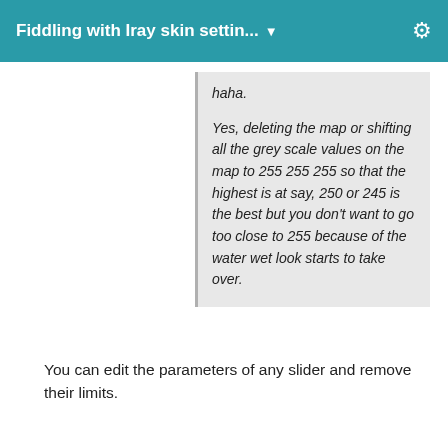Fiddling with Iray skin settin... ▼
haha.
Yes, deleting the map or shifting all the grey scale values on the map to 255 255 255 so that the highest is at say, 250 or 245 is the best but you don't want to go too close to 255 because of the water wet look starts to take over.
You can edit the parameters of any slider and remove their limits.